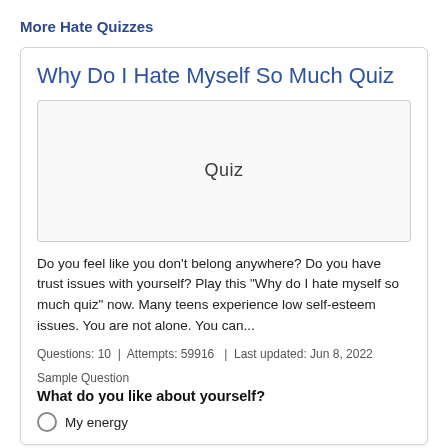More Hate Quizzes
Why Do I Hate Myself So Much Quiz
[Figure (illustration): A placeholder image box with the word 'Quiz' written in a handwritten/cursive style font centered within a bordered rectangle.]
Do you feel like you don't belong anywhere? Do you have trust issues with yourself? Play this "Why do I hate myself so much quiz" now. Many teens experience low self-esteem issues. You are not alone. You can...
Questions: 10  |  Attempts: 59916   |  Last updated: Jun 8, 2022
Sample Question
What do you like about yourself?
My energy